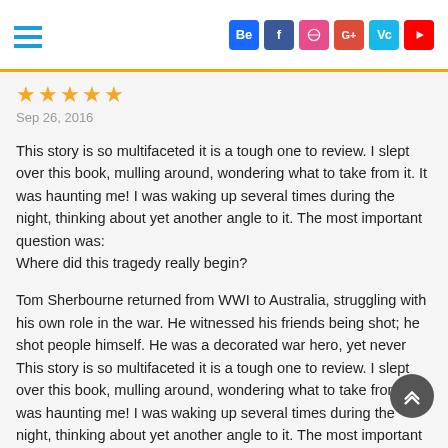Social media icon bar with hamburger menu and social icons: Behance, Facebook, Dribbble, Google+, Vine, YouTube
★★★★★
Sep 26, 2016
This story is so multifaceted it is a tough one to review. I slept over this book, mulling around, wondering what to take from it. It was haunting me! I was waking up several times during the night, thinking about yet another angle to it. The most important question was:
Where did this tragedy really begin?

Tom Sherbourne returned from WWI to Australia, struggling with his own role in the war. He witnessed his friends being shot; he shot people himself. He was a decorated war hero, yet never This story is so multifaceted it is a tough one to review. I slept over this book, mulling around, wondering what to take from it. It was haunting me! I was waking up several times during the night, thinking about yet another angle to it. The most important question was:
Where did this tragedy really begin?

Tom Sherbourne returned from WWI to Australia, struggling with...